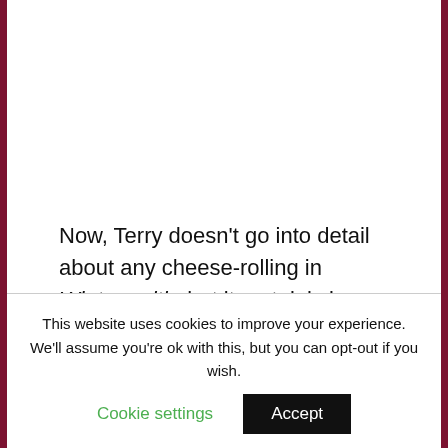Now, Terry doesn't go into detail about any cheese-rolling in Wintersmith, but it certainly is implied with the inclusion of Horace, a Lancre blue cheese roll. That said, it's a bit puzzling as to why Horace is there at all. He doesn't really do anything, not even as a pseudo-feegle.
This website uses cookies to improve your experience. We'll assume you're ok with this, but you can opt-out if you wish.
Cookie settings | Accept